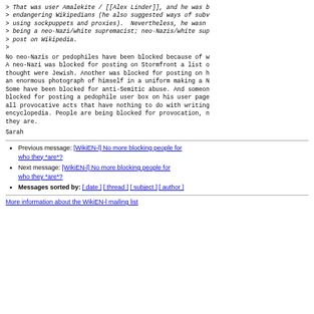> That was user Amalekite / [[Alex Linder]], and he was b
> endangering Wikipedians (he also suggested ways of subv
> using sockpuppets and proxies).  Nevertheless, he wasn
> being a neo-Nazi/white supremacist; neo-Nazis/white sup
> post on Wikipedia.
>
No neo-Nazis or pedophiles have been blocked because of w
A neo-Nazi was blocked for posting on Stormfront a list o
thought were Jewish. Another was blocked for posting on h
an enormous photograph of himself in a uniform making a N
Some have been blocked for anti-Semitic abuse. And someon
blocked for posting a pedophile user box on his user page
all provocative acts that have nothing to do with writing
encyclopedia. People are being blocked for provocation, n
they are.
Sarah
Previous message: [WikiEN-l] No more blocking people for who they *are*?
Next message: [WikiEN-l] No more blocking people for who they *are*?
Messages sorted by: [ date ] [ thread ] [ subject ] [ author ]
More information about the WikiEN-l mailing list